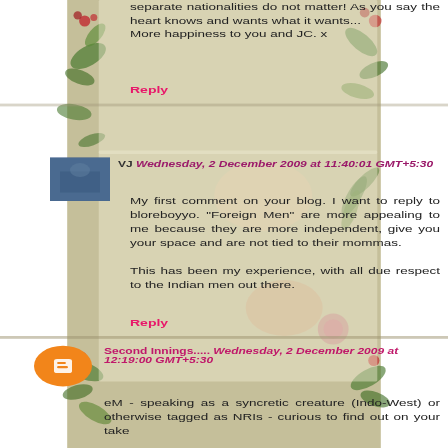separate nationalities do not matter! As you say the heart knows and wants what it wants...
More happiness to you and JC. x
Reply
VJ Wednesday, 2 December 2009 at 11:40:01 GMT+5:30
My first comment on your blog. I want to reply to bloreboyyo. "Foreign Men" are more appealing to me because they are more independent, give you your space and are not tied to their mommas.
This has been my experience, with all due respect to the Indian men out there.
Reply
Second Innings..... Wednesday, 2 December 2009 at 12:19:00 GMT+5:30
eM - speaking as a syncretic creature (Indo-West) or otherwise tagged as NRIs - curious to find out on your take